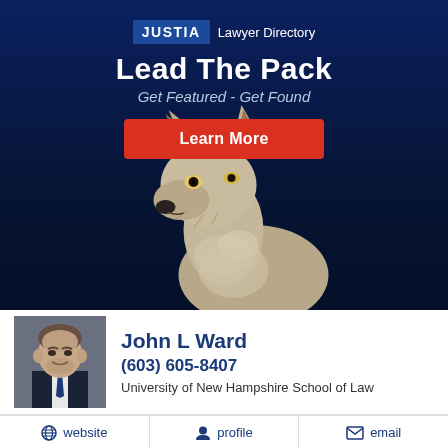[Figure (infographic): Justia Lawyer Directory advertisement banner with dark navy background, wolf photo, 'Lead The Pack' headline, 'Get Featured - Get Found' subheading, and red 'Learn More' button]
John L Ward
(603) 605-8407
University of New Hampshire School of Law
website  profile  email